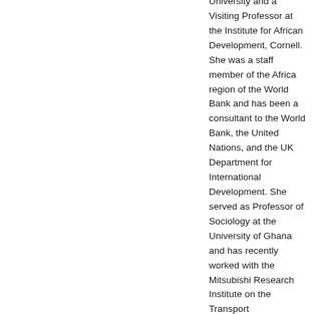University and a Visiting Professor at the Institute for African Development, Cornell. She was a staff member of the Africa region of the World Bank and has been a consultant to the World Bank, the United Nations, and the UK Department for International Development. She served as Professor of Sociology at the University of Ghana and has recently worked with the Mitsubishi Research Institute on the Transport arrangements of the northern corridor in Kenya. She has written and edited numerous books, including Travel